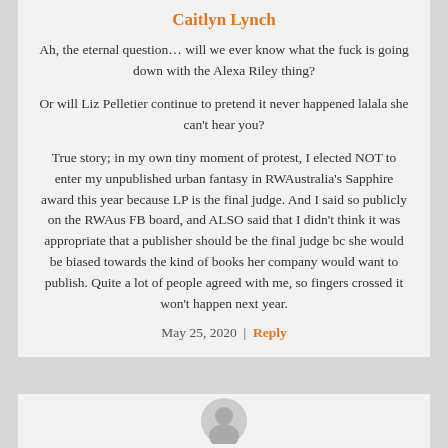Caitlyn Lynch
Ah, the eternal question… will we ever know what the fuck is going down with the Alexa Riley thing?

Or will Liz Pelletier continue to pretend it never happened lalala she can't hear you?

True story; in my own tiny moment of protest, I elected NOT to enter my unpublished urban fantasy in RWAustralia's Sapphire award this year because LP is the final judge. And I said so publicly on the RWAus FB board, and ALSO said that I didn't think it was appropriate that a publisher should be the final judge bc she would be biased towards the kind of books her company would want to publish. Quite a lot of people agreed with me, so fingers crossed it won't happen next year.
May 25, 2020 | Reply